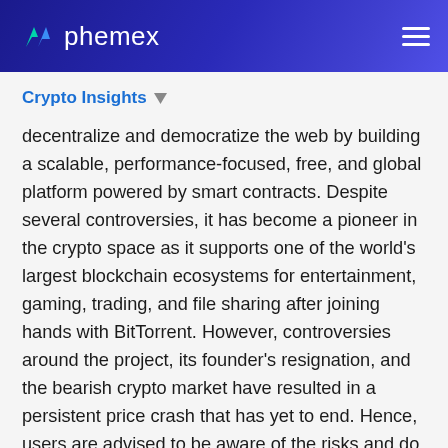phemex
Crypto Insights
decentralize and democratize the web by building a scalable, performance-focused, free, and global platform powered by smart contracts. Despite several controversies, it has become a pioneer in the crypto space as it supports one of the world’s largest blockchain ecosystems for entertainment, gaming, trading, and file sharing after joining hands with BitTorrent. However, controversies around the project, its founder’s resignation, and the bearish crypto market have resulted in a persistent price crash that has yet to end. Hence, users are advised to be aware of the risks and do their due diligence before investing in the Tron project.